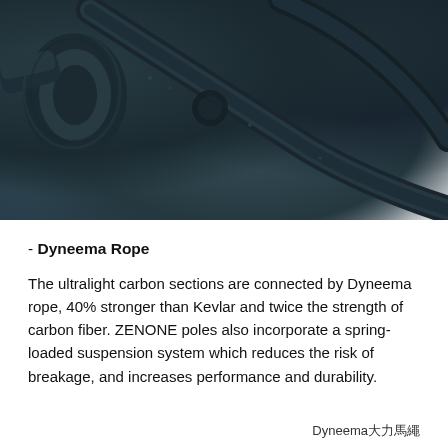[Figure (photo): Close-up photograph of dark carbon fiber pole sections connected by a dark rope/bungee cord, showing the Dyneema rope connection system. Dark teal/black equipment against white background.]
- Dyneema Rope
The ultralight carbon sections are connected by Dyneema rope, 40% stronger than Kevlar and twice the strength of carbon fiber. ZENONE poles also incorporate a spring-loaded suspension system which reduces the risk of breakage, and increases performance and durability.
Dyneema大力馬繩